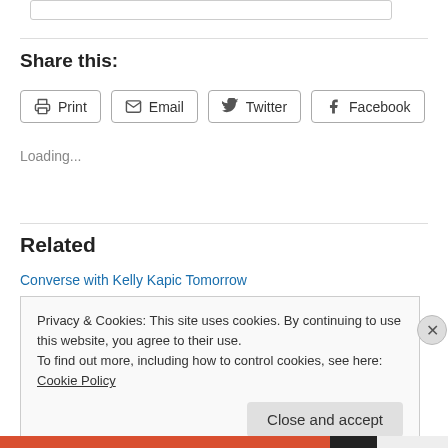Share this:
Print  Email  Twitter  Facebook
Loading...
Related
Converse with Kelly Kapic Tomorrow
Privacy & Cookies: This site uses cookies. By continuing to use this website, you agree to their use.
To find out more, including how to control cookies, see here: Cookie Policy
Close and accept